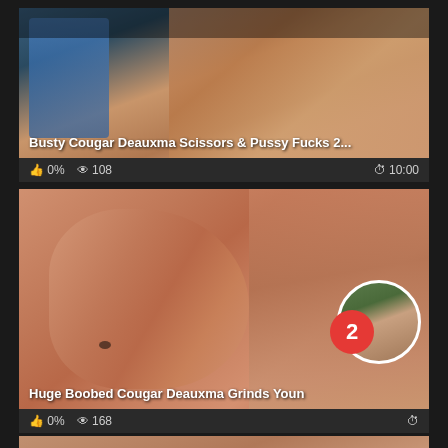[Figure (screenshot): Video thumbnail 1: blurred image of people, top portion visible]
Busty Cougar Deauxma Scissors & Pussy Fucks 2...
0%  108  10:00
[Figure (screenshot): Video thumbnail 2: extreme close-up blurred skin texture]
Huge Boobed Cougar Deauxma Grinds Youn
0%  168